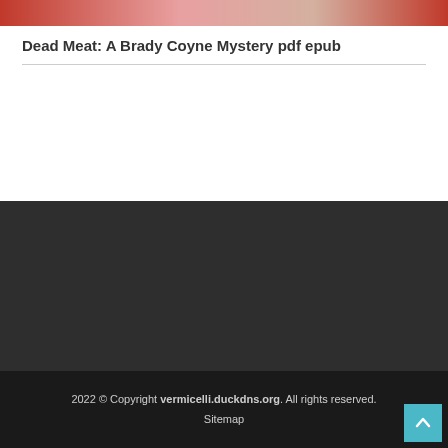[Figure (photo): Top portion of a book or item showing red and light-colored elements, cropped at top of page]
Dead Meat: A Brady Coyne Mystery pdf epub
2022 © Copyright vermicelli.duckdns.org. All rights reserved. Sitemap